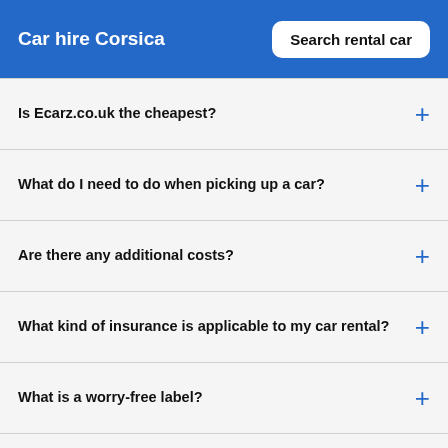Car hire Corsica
Is Ecarz.co.uk the cheapest?
What do I need to do when picking up a car?
Are there any additional costs?
What kind of insurance is applicable to my car rental?
What is a worry-free label?
How can I change or cancel my reservation?